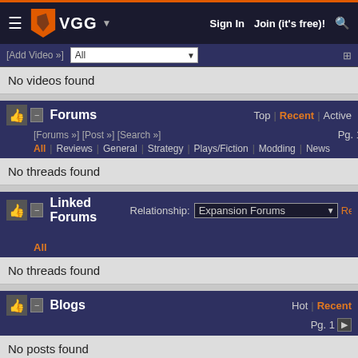VGG — Sign In | Join (it's free)!
[Add Video »] All — No videos found
Forums — Top | Recent | Active — [Forums »] [Post »] [Search »] — All | Reviews | General | Strategy | Plays/Fiction | Modding | News — Pg. 1
No threads found
Linked Forums — Relationship: Expansion Forums — All — Pg.
No threads found
Blogs — Hot | Recent — Pg. 1
No posts found
Files — Title | Hot | Recent — [Browse »] Language: — Pg. 1 of 1